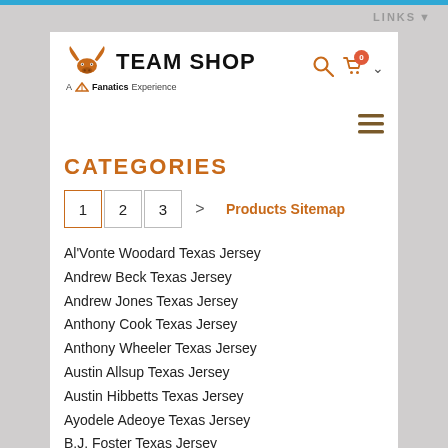LINKS
[Figure (logo): Texas Longhorns Team Shop - A Fanatics Experience logo with longhorn icon]
CATEGORIES
1  2  3  >  Products Sitemap
Al'Vonte Woodard Texas Jersey
Andrew Beck Texas Jersey
Andrew Jones Texas Jersey
Anthony Cook Texas Jersey
Anthony Wheeler Texas Jersey
Austin Allsup Texas Jersey
Austin Hibbetts Texas Jersey
Ayodele Adeoye Texas Jersey
B.J. Foster Texas Jersey
Blake Nevins Texas Jersey